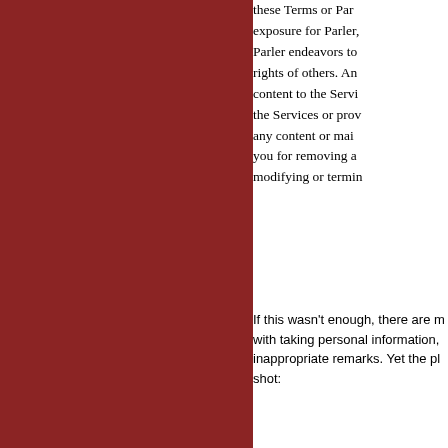these Terms or Par exposure for Parler, Parler endeavors to rights of others. An content to the Servi the Services or prov any content or mai you for removing a modifying or termin
If this wasn't enough, there are m with taking personal information, inappropriate remarks. Yet the pl shot: